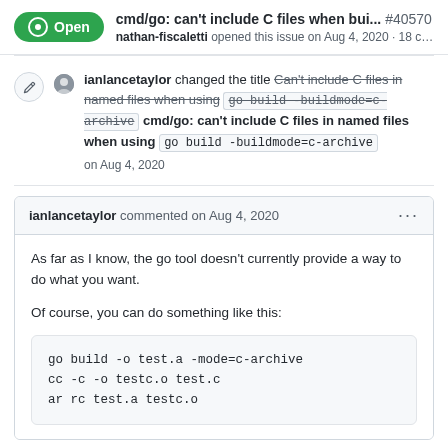cmd/go: can't include C files when bui... #40570
nathan-fiscaletti opened this issue on Aug 4, 2020 · 18 c...
ianlancetaylor changed the title Can't include C files in named files when using go build -buildmode=c-archive cmd/go: can't include C files in named files when using go build -buildmode=c-archive
on Aug 4, 2020
ianlancetaylor commented on Aug 4, 2020
As far as I know, the go tool doesn't currently provide a way to do what you want.
Of course, you can do something like this:
go build -o test.a -mode=c-archive
cc -c -o testc.o test.c
ar rc test.a testc.o